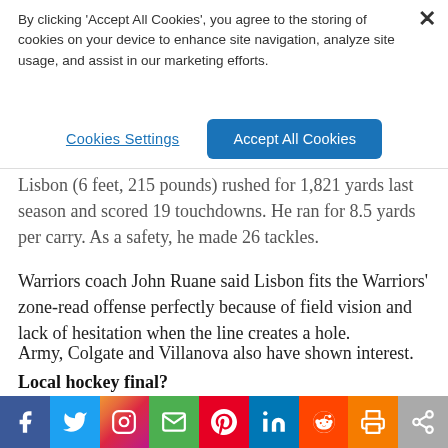By clicking 'Accept All Cookies', you agree to the storing of cookies on your device to enhance site navigation, analyze site usage, and assist in our marketing efforts.
Cookies Settings
Accept All Cookies
Lisbon (6 feet, 215 pounds) rushed for 1,821 yards last season and scored 19 touchdowns. He ran for 8.5 yards per carry. As a safety, he made 26 tackles.
Warriors coach John Ruane said Lisbon fits the Warriors' zone-read offense perfectly because of field vision and lack of hesitation when the line creates a hole.
Army, Colgate and Villanova also have shown interest.
Local hockey final?
The PIHL Class AA championship could match teams from Westmoreland County.